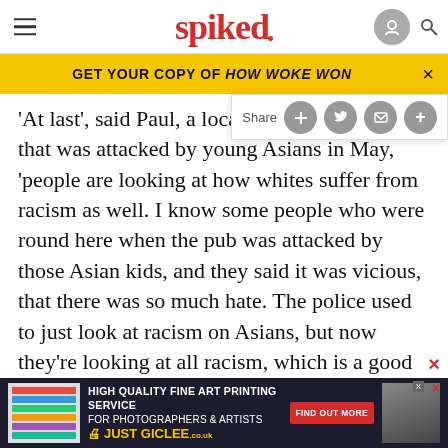spiked
GET YOUR COPY OF HOW WOKE WON
'At last', said Paul, a local in the  that was attacked by young Asians in May, 'people are looking at how whites suffer from racism as well. I know some people who were round here when the pub was attacked by those Asian kids, and they said it was vicious, that there was so much hate. The police used to just look at racism on Asians, but now they're looking at all racism, which is a good development'.
Talki... a
ABOUT
[Figure (screenshot): Advertisement for Just Giclee high quality fine art printing service for photographers and artists]